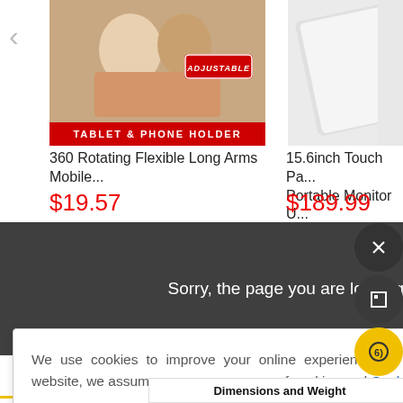[Figure (photo): Product image: 360 Rotating Flexible Long Arms Mobile tablet and phone holder with red banner label and ADJUSTABLE badge]
360 Rotating Flexible Long Arms Mobile...
$19.57
[Figure (photo): Product image: 15.6inch Touch Portable Monitor, partially visible, white/grey device]
15.6inch Touch Pa... Portable Monitor U...
$189.99
Sorry, the page you are looking for could not be found.
Description
Reviews(1)
Shipping & Payment
We use cookies to improve your online experience. By continuing browsing this website, we assume you agree our use of cookies and Cookie Policy.
oduct weight: 0.1040
Package weight: 0.1100
Dimensions and Weight